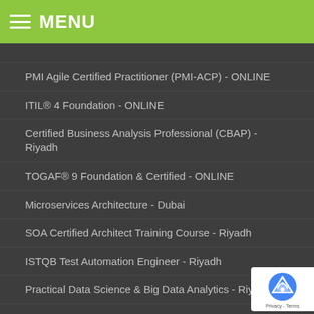MENU
PMI Agile Certified Practitioner (PMI-ACP) - ONLINE
ITIL® 4 Foundation - ONLINE
Certified Business Analysis Professional (CBAP) - Riyadh
TOGAF® 9 Foundation & Certified - ONLINE
Microservices Architecture - Dubai
SOA Certified Architect Training Course - Riyadh
ISTQB Test Automation Engineer - Riyadh
Practical Data Science & Big Data Analytics - Riyadh
TOGAF® 9 Foundation & Certified - Dubai
Fundamentals of Data Management - Riyadh